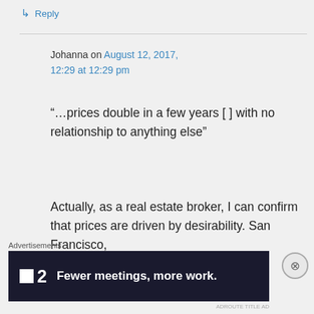↳ Reply
Johanna on August 12, 2017, 12:29 at 12:29 pm
“…prices double in a few years [ ] with no relationship to anything else”
Actually, as a real estate broker, I can confirm that prices are driven by desirability. San Francisco,
Advertisements
[Figure (other): Advertisement banner for a product '2' with tagline 'Fewer meetings, more work.' on a dark background]